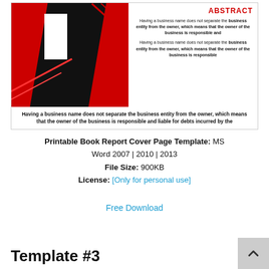[Figure (illustration): Preview of a book report cover page template with red and black geometric design on the left, 'ABSTRACT' title in red on the upper right, and sample body text paragraphs]
Printable Book Report Cover Page Template: MS Word 2007 | 2010 | 2013
File Size: 900KB
License: [Only for personal use]
Free Download
Template #3